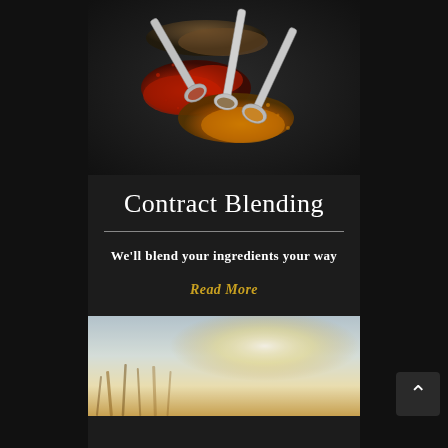[Figure (photo): Close-up photo of colorful spices (red, orange/turmeric, and brown/cumin) spilling from silver spoons on a dark black surface]
Contract Blending
We'll blend your ingredients your way
Read More
[Figure (photo): Blurred outdoor photo showing dried grasses or wheat stalks with a bright sky background, warm golden tones]